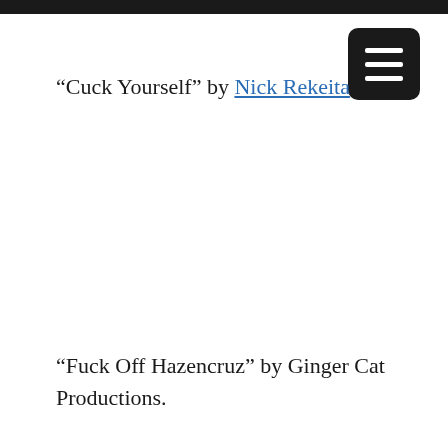“Cuck Yourself” by Nick Rekeita.
“Fuck Off Hazencruz” by Ginger Cat Productions.